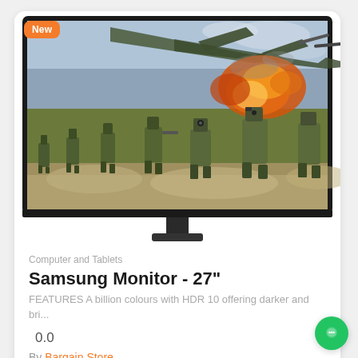[Figure (photo): A Samsung 27-inch monitor displaying a military combat scene with robotic soldiers and aircraft explosions. A 'New' badge is overlaid in orange on the top-left corner of the monitor image.]
Computer and Tablets
Samsung Monitor - 27"
FEATURES A billion colours with HDR 10 offering darker and bri...
0.0
By Bargain Store